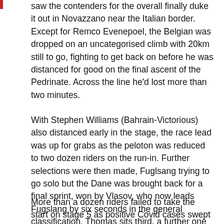saw the contenders for the overall finally duke it out in Novazzano near the Italian border. Except for Remco Evenepoel, the Belgian was dropped on an uncategorised climb with 20km still to go, fighting to get back on before he was distanced for good on the final ascent of the Pedrinate. Across the line he'd lost more than two minutes.
With Stephen Williams (Bahrain-Victorious) also distanced early in the stage, the race lead was up for grabs as the peloton was reduced to two dozen riders on the run-in. Further selections were then made, Fuglsang trying to go solo but the Dane was brought back for a final sprint, won by Vlasov, who now leads Fugslang by six seconds in the general classification. Thomas sits third, a further one second in arrears.
More than a dozen riders failed to take the start on stage 5 as positive Covid cases swept through the bunch, taking out the entire Jumbo-Visma squad as multiple riders on the Dutch team tested positive, three from DSM, as well as Adam Yates (Ineos Grenadiers) and Asencio and